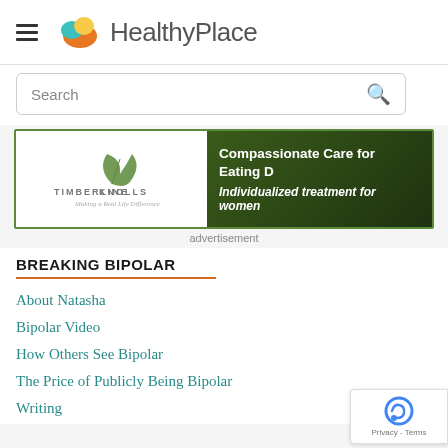HealthyPlace
Search
[Figure (advertisement): Timberline Knolls advertisement banner. Left side: white background with Timberline Knolls logo (leaf icon) and tagline 'Making a Real Life Difference'. Right side: dark green/nature background with text 'Compassionate Care for Eating' and 'Individualized treatment for women']
advertisement
BREAKING BIPOLAR
About Natasha
Bipolar Video
How Others See Bipolar
The Price of Publicly Being Bipolar
Writing